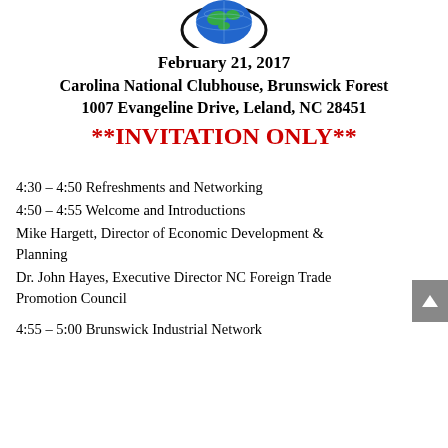[Figure (logo): Circular logo with globe/earth graphic, blue and green colors with black oval outline]
February 21, 2017
Carolina National Clubhouse, Brunswick Forest
1007 Evangeline Drive, Leland, NC 28451
**INVITATION ONLY**
4:30 – 4:50 Refreshments and Networking
4:50 – 4:55 Welcome and Introductions
Mike Hargett, Director of Economic Development & Planning
Dr. John Hayes, Executive Director NC Foreign Trade Promotion Council
4:55 – 5:00 Brunswick Industrial Network